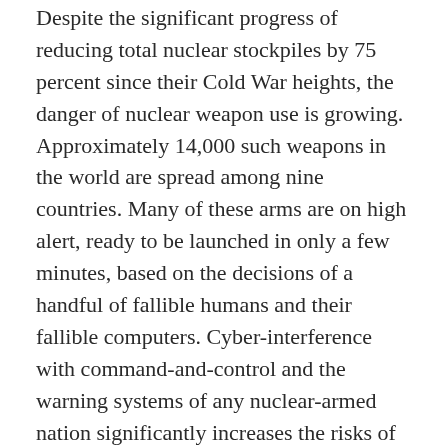Despite the significant progress of reducing total nuclear stockpiles by 75 percent since their Cold War heights, the danger of nuclear weapon use is growing. Approximately 14,000 such weapons in the world are spread among nine countries. Many of these arms are on high alert, ready to be launched in only a few minutes, based on the decisions of a handful of fallible humans and their fallible computers. Cyber-interference with command-and-control and the warning systems of any nuclear-armed nation significantly increases the risks of false warnings and nuclear war-by-blunder.
New START must be extended without delay, but it is now threatened by a risky game of chicken being played by Presidents Trump and Putin. Skillful diplomacy between the United States and Russia could extend the life of the agreement by up to five years, as provided for in the treaty, and as Russia offered last year. This would allow